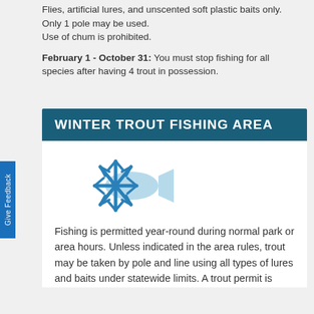Flies, artificial lures, and unscented soft plastic baits only. Only 1 pole may be used.
Use of chum is prohibited.
February 1 - October 31: You must stop fishing for all species after having 4 trout in possession.
WINTER TROUT FISHING AREA
[Figure (illustration): Icon of a snowflake and a fish (trout) overlapping, in light blue and blue colors, representing winter trout fishing.]
Fishing is permitted year-round during normal park or area hours. Unless indicated in the area rules, trout may be taken by pole and line using all types of lures and baits under statewide limits. A trout permit is required to keep trout.